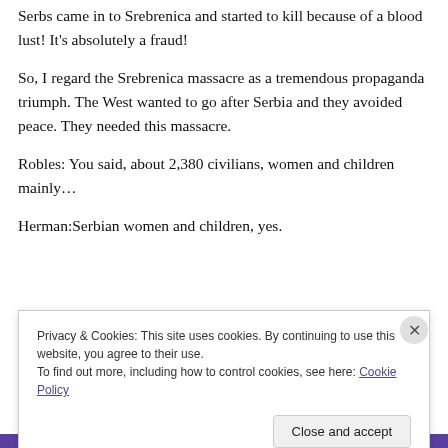Serbs came in to Srebrenica and started to kill because of a blood lust! It's absolutely a fraud!
So, I regard the Srebrenica massacre as a tremendous propaganda triumph. The West wanted to go after Serbia and they avoided peace. They needed this massacre.
Robles: You said, about 2,380 civilians, women and children mainly…
Herman:Serbian women and children, yes.
Privacy & Cookies: This site uses cookies. By continuing to use this website, you agree to their use.
To find out more, including how to control cookies, see here: Cookie Policy
Close and accept